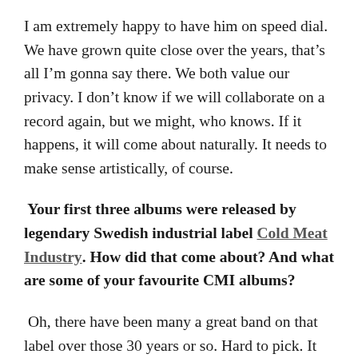I am extremely happy to have him on speed dial. We have grown quite close over the years, that's all I'm gonna say there. We both value our privacy. I don't know if we will collaborate on a record again, but we might, who knows. If it happens, it will come about naturally. It needs to make sense artistically, of course.
Your first three albums were released by legendary Swedish industrial label Cold Meat Industry. How did that come about? And what are some of your favourite CMI albums?
Oh, there have been many a great band on that label over those 30 years or so. Hard to pick. It was just one of